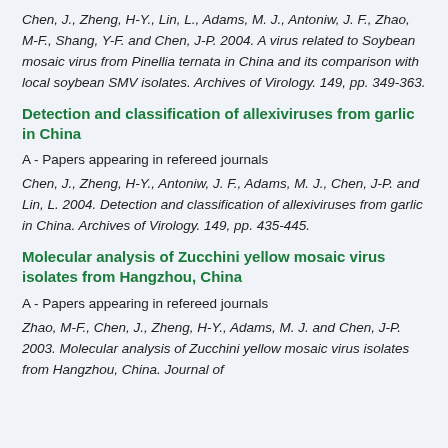Chen, J., Zheng, H-Y., Lin, L., Adams, M. J., Antoniw, J. F., Zhao, M-F., Shang, Y-F. and Chen, J-P. 2004. A virus related to Soybean mosaic virus from Pinellia ternata in China and its comparison with local soybean SMV isolates. Archives of Virology. 149, pp. 349-363.
Detection and classification of allexiviruses from garlic in China
A - Papers appearing in refereed journals
Chen, J., Zheng, H-Y., Antoniw, J. F., Adams, M. J., Chen, J-P. and Lin, L. 2004. Detection and classification of allexiviruses from garlic in China. Archives of Virology. 149, pp. 435-445.
Molecular analysis of Zucchini yellow mosaic virus isolates from Hangzhou, China
A - Papers appearing in refereed journals
Zhao, M-F., Chen, J., Zheng, H-Y., Adams, M. J. and Chen, J-P. 2003. Molecular analysis of Zucchini yellow mosaic virus isolates from Hangzhou, China. Journal of